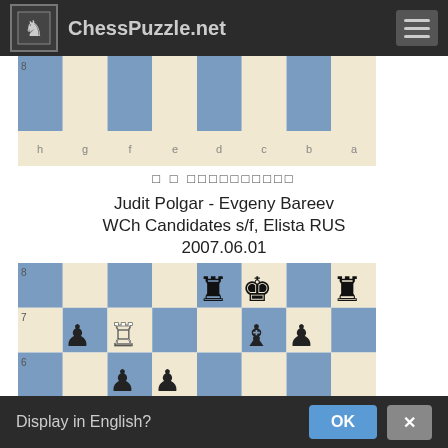ChessPuzzle.net
[Figure (screenshot): Partial chess board showing rank 8 (empty row) and file labels h g f e d c b a at bottom]
□ □ □□□□□□□□□□
Judit Polgar - Evgeny Bareev
WCh Candidates s/f, Elista RUS
2007.06.01
[Figure (screenshot): Chess board showing a game position: rank 8 has rook on a8, rook on d8, king on c8; rank 7 has black pawn on g7, white rook on f7, black bishop on c7, black pawn on b7; rank 6 has black pawn on f6, black pawn on e6; rank 5 has black pawn on a5, black pawn on e5, white pawn on c5, black pawn on b5; rank 4 has white pawn on a4, white pawn on e4; rank 3 partial]
Display in English?  OK  ×